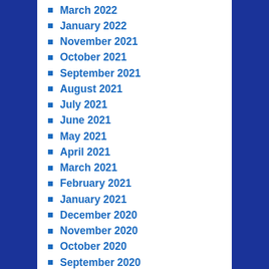March 2022
January 2022
November 2021
October 2021
September 2021
August 2021
July 2021
June 2021
May 2021
April 2021
March 2021
February 2021
January 2021
December 2020
November 2020
October 2020
September 2020
August 2020
July 2020
June 2020
May 2020
April 2020